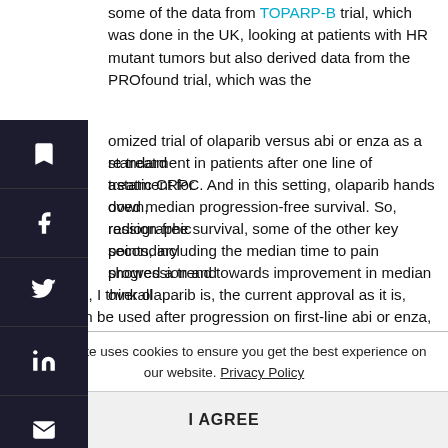some of the data from TOPARP-B trial, which was done in the UK, looking at patients with HR mutant tumors but also derived data from the PROfound trial, which was the randomized trial of olaparib versus abi or enza as a standard of care treatment in patients after one line of treatment for metastatic CRPC. And in this setting, olaparib hands down, improved median progression-free survival. So, radiographic progression-free survival, some of the other key secondary endpoints, including the median time to pain progression and showed a trend towards improvement in median overall survival. So, I think olaparib is, the current approval as it is, olaparib can be used after progression on first-line abi or enza, as long as the patients have an HR mutation. And then, rucaparib as I mentioned previously, has to be progression on at least one novel antiandrogen and a taxane and requires the HR mutation.
This website uses cookies to ensure you get the best experience on our website. Privacy Policy
I AGREE